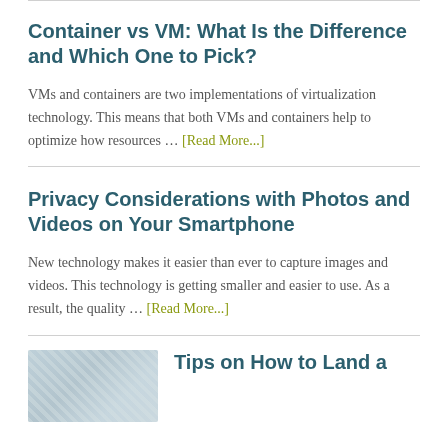Container vs VM: What Is the Difference and Which One to Pick?
VMs and containers are two implementations of virtualization technology. This means that both VMs and containers help to optimize how resources … [Read More...]
Privacy Considerations with Photos and Videos on Your Smartphone
New technology makes it easier than ever to capture images and videos. This technology is getting smaller and easier to use. As a result, the quality … [Read More...]
[Figure (photo): Thumbnail image, appears to show a gray/blue textured surface, partially visible at bottom left]
Tips on How to Land a